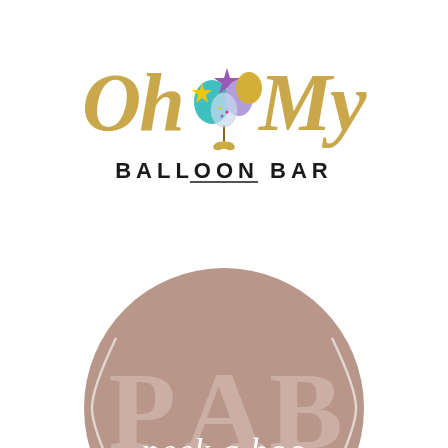[Figure (logo): Oh My Balloon Bar logo: gold cursive script 'Oh My' with a colorful balloon bouquet cluster in the center, and 'BALLOON BAR' in bold black uppercase lettering below]
[Figure (logo): Peek A Boo logo: a large muted rose/taupe circle with thin curved bracket lines on either side, large light letters 'P A B' and cursive script 'peek a boo' overlaid]